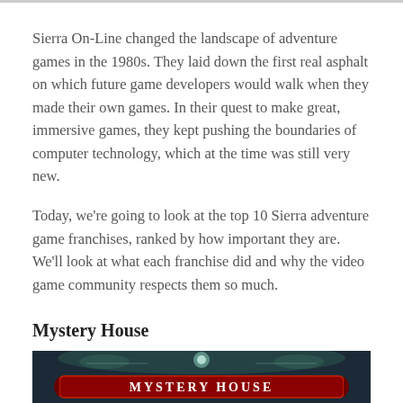Sierra On-Line changed the landscape of adventure games in the 1980s. They laid down the first real asphalt on which future game developers would walk when they made their own games. In their quest to make great, immersive games, they kept pushing the boundaries of computer technology, which at the time was still very new.
Today, we're going to look at the top 10 Sierra adventure game franchises, ranked by how important they are. We'll look at what each franchise did and why the video game community respects them so much.
Mystery House
[Figure (photo): Mystery House game title screen showing 'MYSTERY HOUSE' text in a stylized red banner with glowing/misty effects on a dark background]